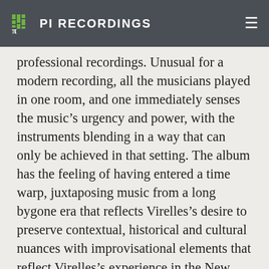PI RECORDINGS
professional recordings. Unusual for a modern recording, all the musicians played in one room, and one immediately senses the music’s urgency and power, with the instruments blending in a way that can only be achieved in that setting. The album has the feeling of having entered a time warp, juxtaposing music from a long bygone era that reflects Virelles’s desire to preserve contextual, historical and cultural nuances with improvisational elements that reflect Virelles’s experience in the New York jazz community. As Chucho Valdés says: “David’s work is immersed in research. He knows our African roots with depth. Tradition and avant-garde come together in this offering